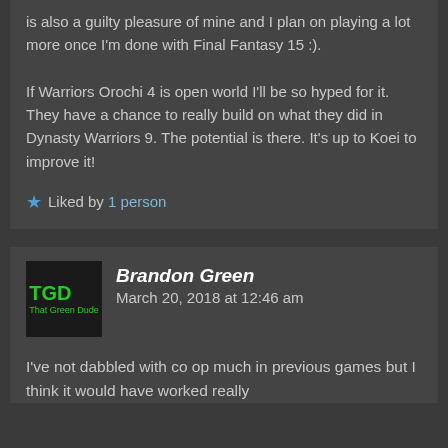is also a guilty pleasure of mine and I plan on playing a lot more once I'm done with Final Fantasy 15 :).

If Warriors Orochi 4 is open world I'll be so hyped for it. They have a chance to really build on what they did in Dynasty Warriors 9. The potential is there. It's up to Koei to improve it!
Liked by 1 person
Brandon Green — March 20, 2018 at 12:46 am
I've not dabbled with co op much in previous games but I think it would have worked really